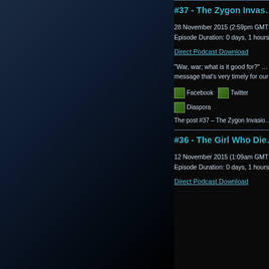#37 - The Zygon Invas...
28 November 2015 (2:59pm GMT
Episode Duration: 0 days, 1 hours
Direct Podcast Download
"War, war; what is it good for?" message that's very timely for our
[Figure (other): Facebook social share icon]
[Figure (other): Twitter social share icon]
[Figure (other): Diaspora social share icon]
The post #37 – The Zygon Invasio...
#36 - The Girl Who Die...
12 November 2015 (1:09am GMT
Episode Duration: 0 days, 1 hours
Direct Podcast Download